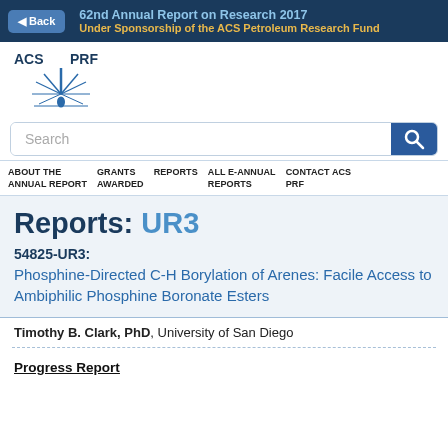62nd Annual Report on Research 2017
Under Sponsorship of the ACS Petroleum Research Fund
[Figure (logo): ACS PRF logo with flame/crystal motif]
Search
ABOUT THE ANNUAL REPORT  GRANTS AWARDED  REPORTS  ALL E-ANNUAL REPORTS  CONTACT ACS PRF
Reports: UR3
54825-UR3:
Phosphine-Directed C-H Borylation of Arenes: Facile Access to Ambiphilic Phosphine Boronate Esters
Timothy B. Clark, PhD, University of San Diego
Progress Report